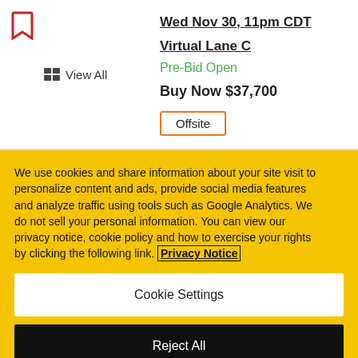[Figure (illustration): Red bookmark icon (outline) in top left corner]
View All
Wed Nov 30, 11pm CDT
Virtual Lane C
Pre-Bid Open
Buy Now $37,700
Offsite
We use cookies and share information about your site visit to personalize content and ads, provide social media features and analyze traffic using tools such as Google Analytics. We do not sell your personal information. You can view our privacy notice, cookie policy and how to exercise your rights by clicking the following link. Privacy Notice
Cookie Settings
Reject All
Accept Cookies